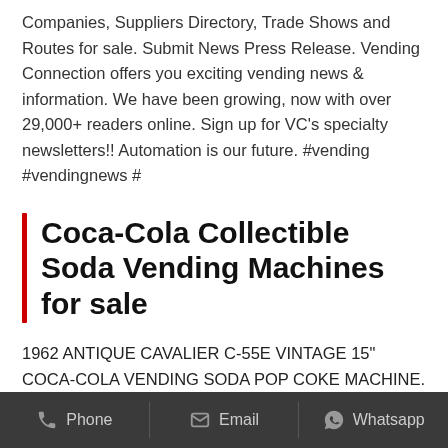Companies, Suppliers Directory, Trade Shows and Routes for sale. Submit News Press Release. Vending Connection offers you exciting vending news & information. We have been growing, now with over 29,000+ readers online. Sign up for VC's specialty newsletters!! Automation is our future. #vending #vendingnews #
Coca-Cola Collectible Soda Vending Machines for sale
1962 ANTIQUE CAVALIER C-55E VINTAGE 15" COCA-COLA VENDING SODA POP COKE MACHINE. $1,450.00. Local Pickup. or Best Offer. 102 watching. Kafevend, the office
Phone   Email   Whatsapp